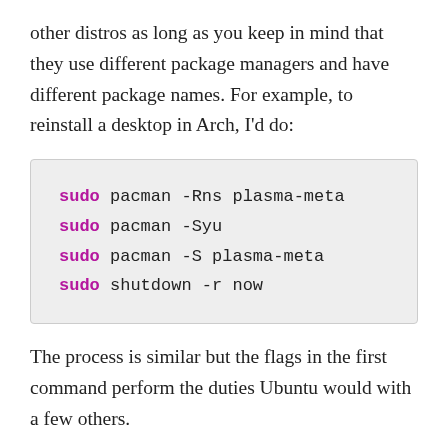other distros as long as you keep in mind that they use different package managers and have different package names. For example, to reinstall a desktop in Arch, I'd do:
sudo pacman -Rns plasma-meta
sudo pacman -Syu
sudo pacman -S plasma-meta
sudo shutdown -r now
The process is similar but the flags in the first command perform the duties Ubuntu would with a few others.
C How do I prevent this issue?